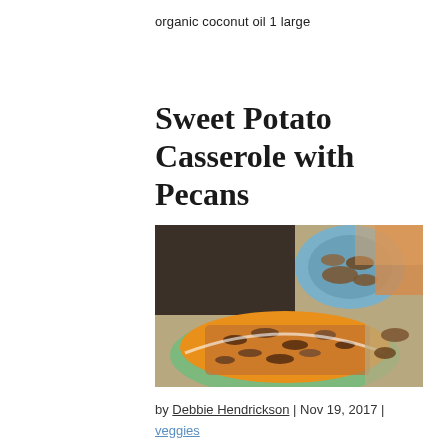organic coconut oil 1 large
Sweet Potato Casserole with Pecans
[Figure (photo): Overhead photo of a sweet potato casserole topped with chopped pecans in a green baking dish, with a blue bowl of pecans nearby on a burlap background.]
by Debbie Hendrickson | Nov 19, 2017 | veggies